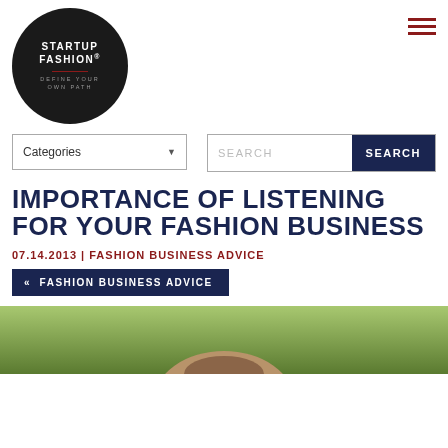[Figure (logo): Startup Fashion circular logo — dark circle with 'STARTUP FASHION.' in white bold uppercase, red underline, and 'DEFINE YOUR OWN PATH' in grey uppercase below]
[Figure (other): Hamburger menu icon — three horizontal dark red bars]
Categories ▼
SEARCH
IMPORTANCE OF LISTENING FOR YOUR FASHION BUSINESS
07.14.2013 | FASHION BUSINESS ADVICE
<< FASHION BUSINESS ADVICE
[Figure (photo): Partial photo of a person outdoors with bokeh green background, visible from shoulders up]